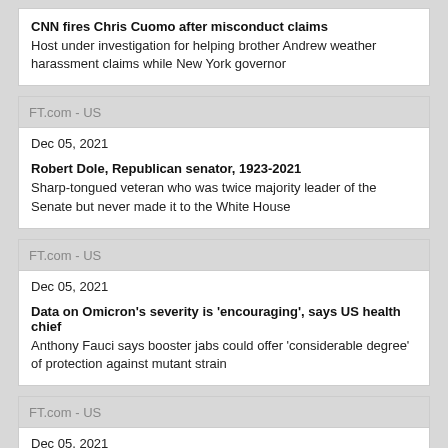CNN fires Chris Cuomo after misconduct claims
Host under investigation for helping brother Andrew weather harassment claims while New York governor
FT.com - US
Dec 05, 2021
Robert Dole, Republican senator, 1923-2021
Sharp-tongued veteran who was twice majority leader of the Senate but never made it to the White House
FT.com - US
Dec 05, 2021
Data on Omicron's severity is 'encouraging', says US health chief
Anthony Fauci says booster jabs could offer 'considerable degree' of protection against mutant strain
FT.com - US
Dec 05, 2021
Elon Musk is setting the rules in space, ESA chief warns
US billionaire's thousands of satellites risk crowding other operators out of low earth orbits